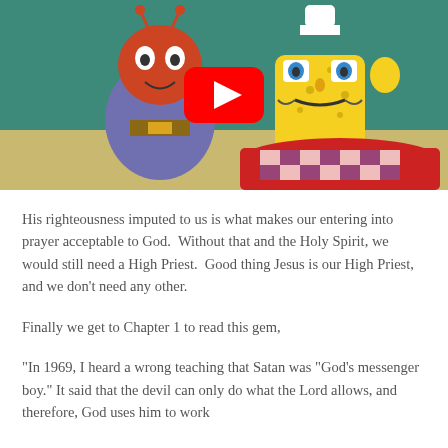[Figure (screenshot): YouTube video thumbnail showing SpongeBob SquarePants characters (Mr. Krabs and SpongeBob with a mustache) with a YouTube play button overlay in the center.]
His righteousness imputed to us is what makes our entering into prayer acceptable to God.  Without that and the Holy Spirit, we would still need a High Priest.  Good thing Jesus is our High Priest, and we don't need any other.
Finally we get to Chapter 1 to read this gem,
“In 1969, I heard a wrong teaching that Satan was “God’s messenger boy.” It said that the devil can only do what the Lord allows, and therefore, God uses him to work